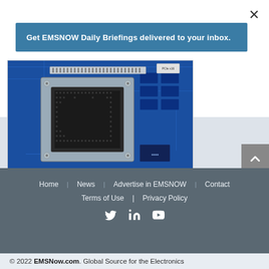×
Get EMSNOW Daily Briefings delivered to your inbox.
[Figure (photo): Close-up photo of a blue PCB circuit board with a silver CPU socket/heat spreader bracket in the center. Below the photo is an orange bar with the PCI (A Celestica Company) logo on the left and tagline 'Make cost-effective process decisions today' on the right.]
Home  News  Advertise in EMSNOW  Contact  Terms of Use  Privacy Policy
© 2022 EMSNow.com. Global Source for the Electronics